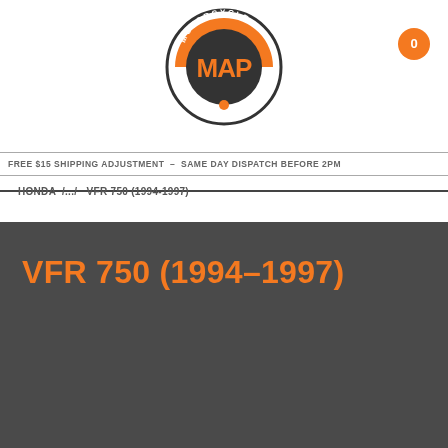Motorcycle MAP Adventure Products logo
FREE $15 SHIPPING ADJUSTMENT - SAME DAY DISPATCH BEFORE 2PM
HONDA / ... / VFR 750 (1994-1997)
VFR 750 (1994-1997)